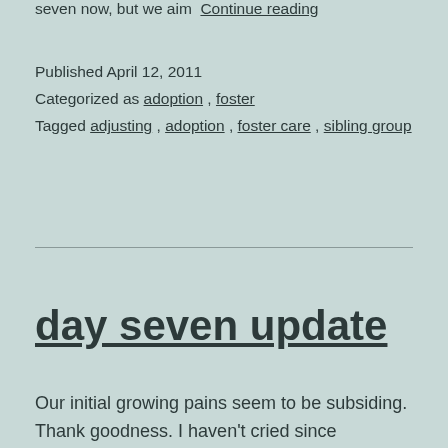seven now, but we aim  Continue reading
Published April 12, 2011
Categorized as adoption, foster
Tagged adjusting, adoption, foster care, sibling group
day seven update
Our initial growing pains seem to be subsiding. Thank goodness. I haven't cried since